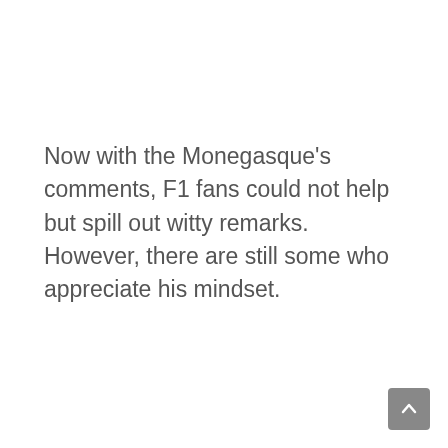Now with the Monegasque's comments, F1 fans could not help but spill out witty remarks. However, there are still some who appreciate his mindset.